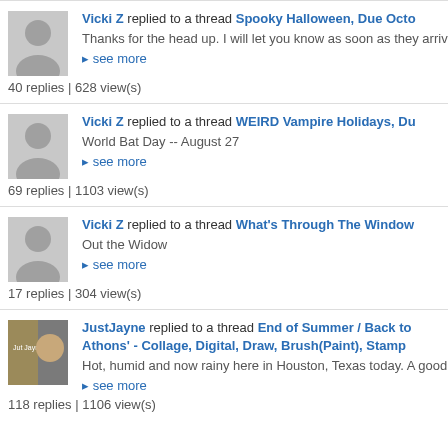Vicki Z replied to a thread Spooky Halloween, Due Octo
Thanks for the head up. I will let you know as soon as they arrive.
see more
40 replies | 628 view(s)
Vicki Z replied to a thread WEIRD Vampire Holidays, Du
World Bat Day -- August 27
see more
69 replies | 1103 view(s)
Vicki Z replied to a thread What's Through The Window
Out the Widow
see more
17 replies | 304 view(s)
JustJayne replied to a thread End of Summer / Back to Athons' - Collage, Digital, Draw, Brush(Paint), Stamp
Hot, humid and now rainy here in Houston, Texas today. A good day
see more
118 replies | 1106 view(s)